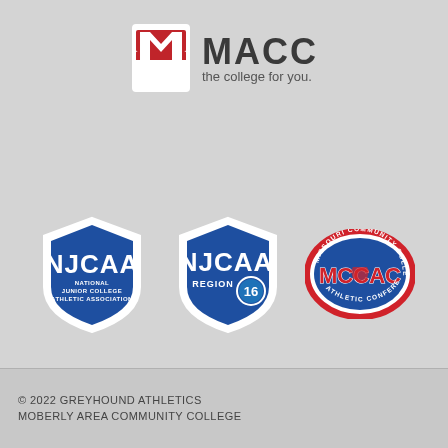[Figure (logo): MACC – the college for you. logo with red M icon and dark gray MACC text]
[Figure (logo): Three athletic logos: NJCAA National Junior College Athletic Association shield logo, NJCAA Region 16 shield logo, and MCCAC Missouri Community College Athletic Conference oval logo]
© 2022 GREYHOUND ATHLETICS
MOBERLY AREA COMMUNITY COLLEGE